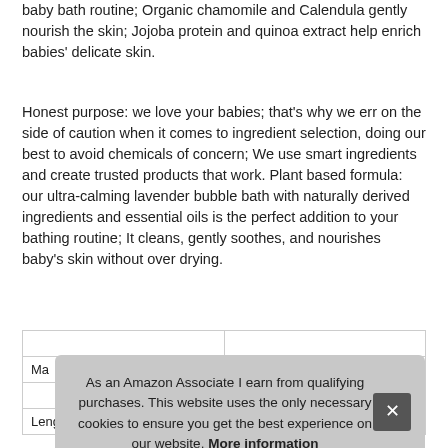baby bath routine; Organic chamomile and Calendula gently nourish the skin; Jojoba protein and quinoa extract help enrich babies' delicate skin.
Honest purpose: we love your babies; that's why we err on the side of caution when it comes to ingredient selection, doing our best to avoid chemicals of concern; We use smart ingredients and create trusted products that work. Plant based formula: our ultra-calming lavender bubble bath with naturally derived ingredients and essential oils is the perfect addition to your bathing routine; It cleans, gently soothes, and nourishes baby's skin without over drying.
| Ma |  |
|  |  |
| Length | 2.5 inches |
As an Amazon Associate I earn from qualifying purchases. This website uses the only necessary cookies to ensure you get the best experience on our website. More information